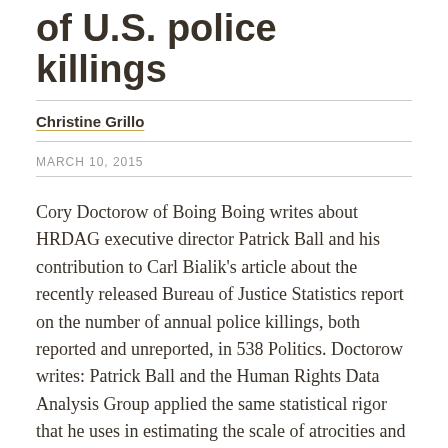of U.S. police killings
Christine Grillo
MARCH 10, 2015
Cory Doctorow of Boing Boing writes about HRDAG executive director Patrick Ball and his contribution to Carl Bialik's article about the recently released Bureau of Justice Statistics report on the number of annual police killings, both reported and unreported, in 538 Politics. Doctorow writes: Patrick Ball and the Human Rights Data Analysis Group applied the same statistical rigor that he uses in estimating the scale of atrocities and genocides for Truth and Reconciliation panels in countries like Syria and Guatemala to the problem of estimating killing by US cops, and came up with a significant...